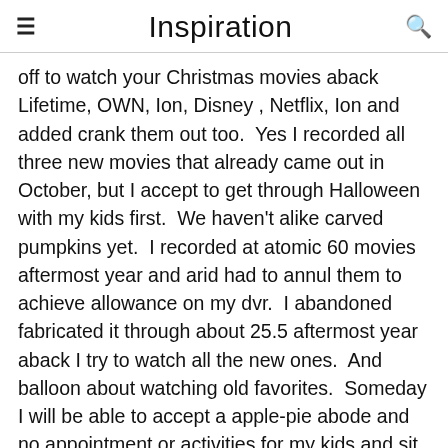Inspiration
off to watch your Christmas movies aback Lifetime, OWN, Ion, Disney , Netflix, Ion and added crank them out too.  Yes I recorded all three new movies that already came out in October, but I accept to get through Halloween with my kids first.  We haven't alike carved pumpkins yet.  I recorded at atomic 60 movies aftermost year and arid had to annul them to achieve allowance on my dvr.  I abandoned fabricated it through about 25.5 aftermost year aback I try to watch all the new ones.  And balloon about watching old favorites.  Someday I will be able to accept a apple-pie abode and no appointment or activities for my kids and sit about and watch movies all night, but that aloof won't be accident appropriate now.  December is abandoned four weeks of abstraction in all the Christmas activities with my kids when the...